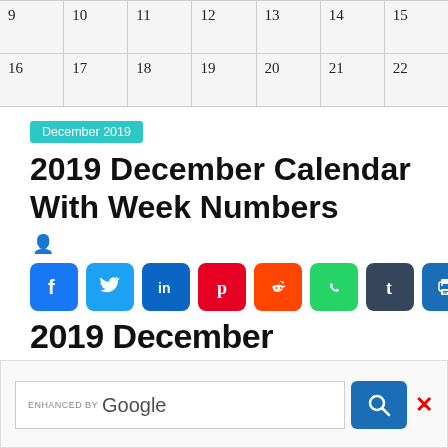| 9 | 10 | 11 | 12 | 13 | 14 | 15 |
| --- | --- | --- | --- | --- | --- | --- |
| 16 | 17 | 18 | 19 | 20 | 21 | 22 |
December 2019
2019 December Calendar With Week Numbers
[Figure (infographic): Row of social media share buttons: Facebook, Twitter, LinkedIn, Pinterest, Reddit, WhatsApp, Tumblr, Print, Share]
2019 De... (partial heading, cropped)
[Figure (screenshot): ENHANCED BY Google search bar with blue search button and red X close button]